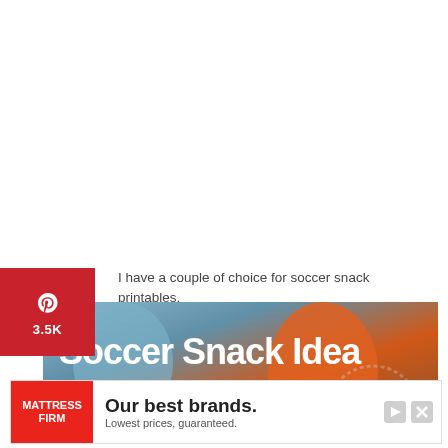[Figure (logo): Pinterest share button with red background, Pinterest logo (P icon) and share count 3.5K]
I have a couple of choice for soccer snack printables.
[Figure (photo): Soccer snack idea image with orange cone and blue items in background, overlaid with bold white text 'Soccer Snack Idea & Free Printables' and a stamp/seal watermark in bottom right]
[Figure (other): Advertisement banner for Mattress Firm: 'Our best brands. Lowest prices, guaranteed.' with Mattress Firm logo on red background and play/close controls]